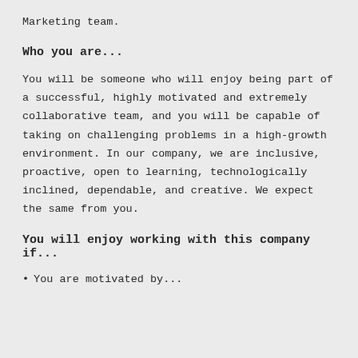Marketing team.
Who you are...
You will be someone who will enjoy being part of a successful, highly motivated and extremely collaborative team, and you will be capable of taking on challenging problems in a high-growth environment. In our company, we are inclusive, proactive, open to learning, technologically inclined, dependable, and creative. We expect the same from you.
You will enjoy working with this company if...
You are motivated by...